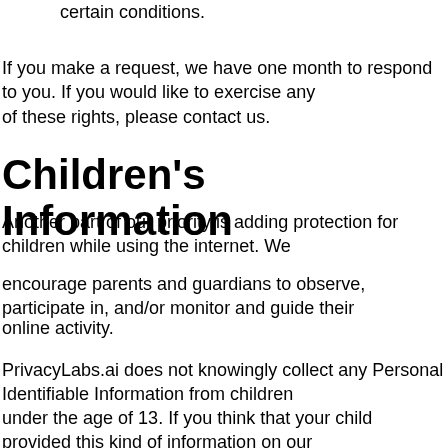certain conditions.
If you make a request, we have one month to respond to you. If you would like to exercise any of these rights, please contact us.
Children's Information
Another part of our priority is adding protection for children while using the internet. We
encourage parents and guardians to observe, participate in, and/or monitor and guide their
online activity.
PrivacyLabs.ai does not knowingly collect any Personal Identifiable Information from children
under the age of 13. If you think that your child provided this kind of information on our
website, we strongly encourage you to contact us immediately and we will do our best efforts